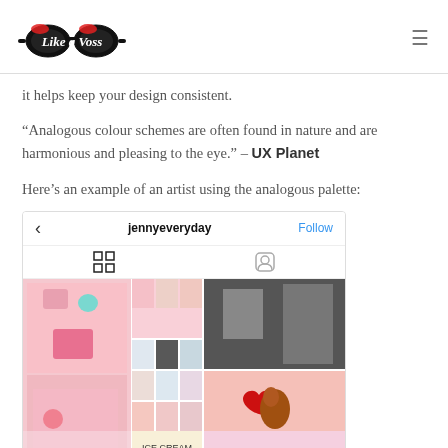Like a Voss logo + navigation
it helps keep your design consistent.
“Analogous colour schemes are often found in nature and are harmonious and pleasing to the eye.” – UX Planet
Here’s an example of an artist using the analogous palette:
[Figure (screenshot): Instagram profile screenshot showing jennyeveryday account with grid of photos including pink-themed crafts and art]